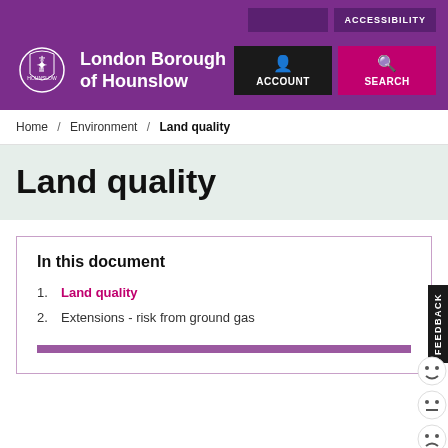London Borough of Hounslow
Home / Environment / Land quality
Land quality
In this document
1. Land quality
2. Extensions - risk from ground gas